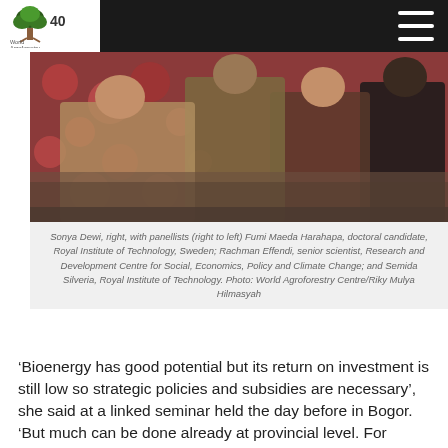World Agroforestry
[Figure (photo): Panel discussion photo showing Sonya Dewi and panellists seated on couches with colorful backdrop]
Sonya Dewi, right, with panellists (right to left) Fumi Maeda Harahapa, doctoral candidate, Royal Institute of Technology, Sweden; Rachman Effendi, senior scientist, Research and Development Centre for Social, Economics, Policy and Climate Change; and Semida Silveria, Royal Institute of Technology. Photo: World Agroforestry Centre/Riky Mulya Hilmasyah
‘Bioenergy has good potential but its return on investment is still low so strategic policies and subsidies are necessary’, she said at a linked seminar held the day before in Bogor. ‘But much can be done already at provincial level. For example, we worked together with the Government of South Sumatra Province to create a green-growth plan up to 2030. Among other things, this master plan maps all villages without access to the main electricity grid that can potentially become self-sufficient in electricity through bioenergy